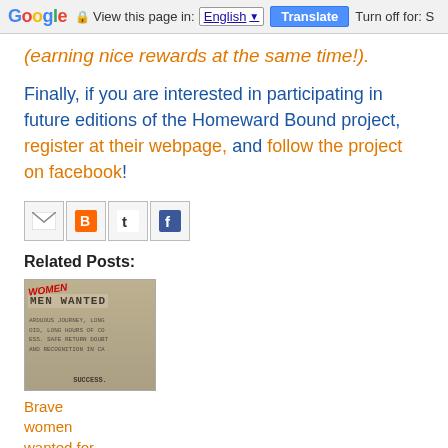Google | View this page in: English [▼] | Translate | Turn off for: S
(earning nice rewards at the same time!).
Finally, if you are interested in participating in future editions of the Homeward Bound project, register at their webpage, and follow the project on facebook!
[Figure (other): Social share icons: email (M), Blogger (B), Twitter (t), Facebook (f)]
Related Posts:
[Figure (photo): Thumbnail image of a wanted poster style graphic with text 'WOMEN MEN WANTED']
Brave women wanted for Antarctic expedition...